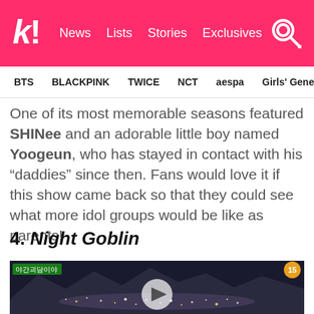k! News Lists Stories Exclusives
BTS BLACKPINK TWICE NCT aespa Girls' Generation
One of its most memorable seasons featured SHINee and an adorable little boy named Yoogeun, who has stayed in contact with his “daddies” since then. Fans would love it if this show came back so that they could see what more idol groups would be like as parents!
4. Night Goblin
[Figure (screenshot): Night Goblin video thumbnail showing aerial night cityscape with city lights and mountains in background, with a play button overlay and a rating badge showing '15' in upper right corner]